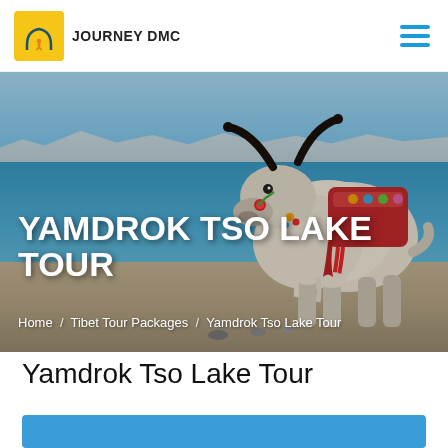JOURNEY DMC
[Figure (photo): White yak decorated with colorful saddle and ornaments standing at the shore of Yamdrok Tso Lake in Tibet, with blue lake water and mountains visible in the background]
YAMDROK TSO LAKE TOUR
Home / Tibet Tour Packages / Yamdrok Tso Lake Tour
Yamdrok Tso Lake Tour
[Figure (other): Blue banner/bar at bottom of page]